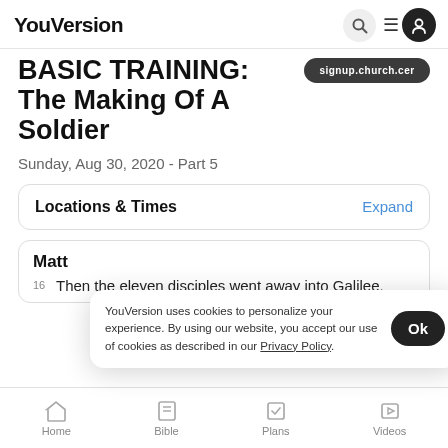YouVersion
BASIC TRAINING: The Making Of A Soldier
Sunday, Aug 30, 2020 - Part 5
Locations & Times
Expand
Matthew
16 Then the eleven disciples went away into Galilee,
YouVersion uses cookies to personalize your experience. By using our website, you accept our use of cookies as described in our Privacy Policy.
Home  Bible  Plans  Videos